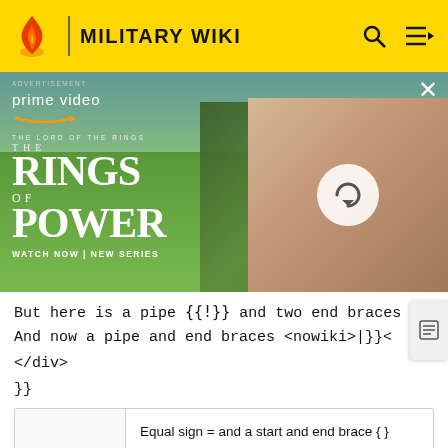MILITARY WIKI
[Figure (screenshot): Amazon Prime Video advertisement for 'The Lord of the Rings: The Rings of Power' series with 'WATCH NOW | NEW SERIES' text]
But here is a pipe {{!}} and two end braces
And now a pipe and end braces <nowiki>|}}
</div>
}}
|  | Equal sign = and a start and end brace { } work fine as they are. But here is a pipe | and two end braces }}. And now a pipe and end braces |}}. |